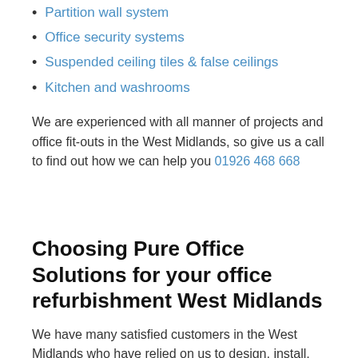Partition wall system
Office security systems
Suspended ceiling tiles & false ceilings
Kitchen and washrooms
We are experienced with all manner of projects and office fit-outs in the West Midlands, so give us a call to find out how we can help you 01926 468 668
Choosing Pure Office Solutions for your office refurbishment West Midlands
We have many satisfied customers in the West Midlands who have relied on us to design, install, and complete